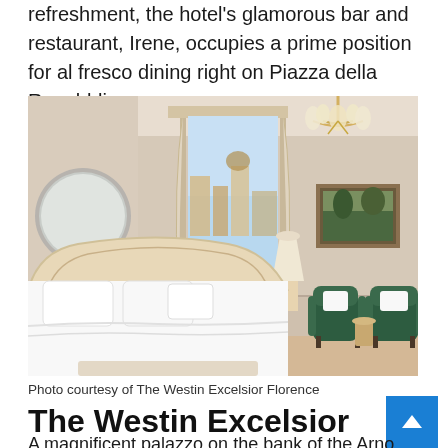refreshment, the hotel's glamorous bar and restaurant, Irene, occupies a prime position for al fresco dining right on Piazza della Repubblica.
[Figure (photo): Elegantly furnished hotel room with white bedding, neutral walls, large window with city/cathedral view, chandelier, round mirror, two dark green velvet armchairs and a small table.]
Photo courtesy of The Westin Excelsior Florence
The Westin Excelsior
A magnificent palazzo on the bank of the Arno